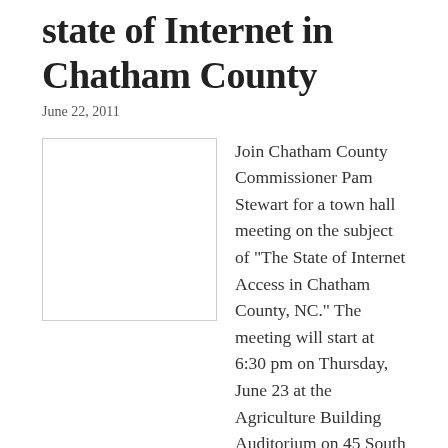state of Internet in Chatham County
June 22, 2011
[Figure (photo): Blank/white image placeholder for article illustration]
Join Chatham County Commissioner Pam Stewart for a town hall meeting on the subject of “The State of Internet Access in Chatham County, NC.” The meeting will start at 6:30 pm on Thursday, June 23 at the Agriculture Building Auditorium on 45 South Stree…
Read more →
Chatham now posting